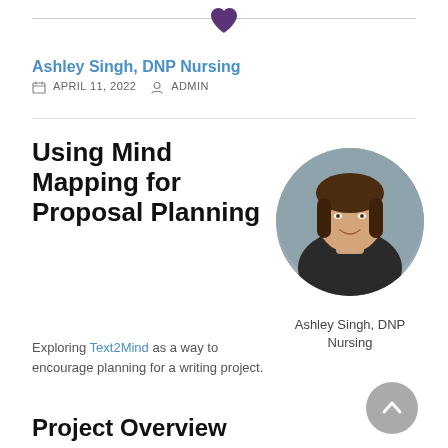[Figure (illustration): Purple heart icon centered at top of page above a horizontal rule]
Ashley Singh, DNP Nursing
APRIL 11, 2022  ADMIN
Using Mind Mapping for Proposal Planning
[Figure (photo): Circular portrait photo of Ashley Singh, a woman with dark hair wearing a dark blazer, smiling against a grey background]
Ashley Singh, DNP Nursing
Exploring Text2Mind as a way to encourage planning for a writing project.
Project Overview
[Figure (illustration): Grey circular scroll-to-top button with upward chevron arrow]